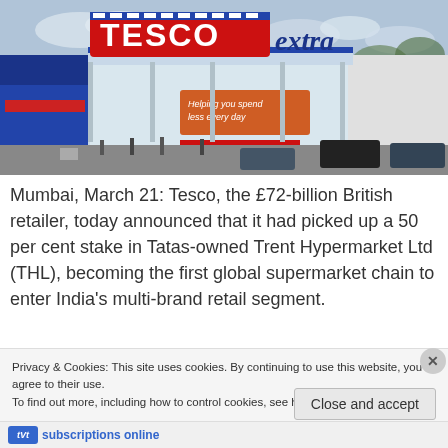[Figure (photo): Exterior photograph of a Tesco Extra supermarket with customers in the car park. Red Tesco Extra sign visible on the building facade with text 'Helping you spend less every day'.]
Mumbai, March 21: Tesco, the £72-billion British retailer, today announced that it had picked up a 50 per cent stake in Tatas-owned Trent Hypermarket Ltd (THL), becoming the first global supermarket chain to enter India's multi-brand retail segment.
Privacy & Cookies: This site uses cookies. By continuing to use this website, you agree to their use.
To find out more, including how to control cookies, see here: Cookie Policy